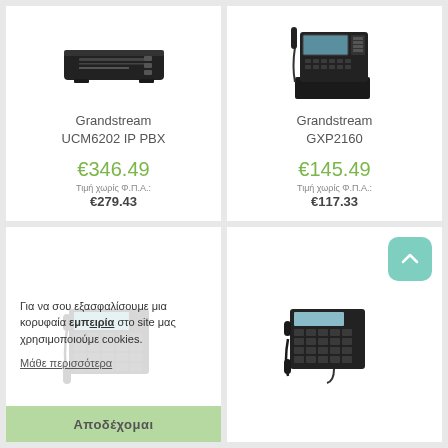[Figure (photo): Grandstream UCM6202 IP PBX device - black horizontal router/PBX unit]
Grandstream
UCM6202 IP PBX
€346.49
Τιμή χωρίς Φ.Π.Α.: €279.43
[Figure (photo): Grandstream GXP2160 IP phone - black desk phone with display]
Grandstream
GXP2160
€145.49
Τιμή χωρίς Φ.Π.Α.: €117.33
[Figure (photo): Grandstream IP phone - dark grey desk phone with keypad and display, partially obscured by cookie overlay]
Για να σου εξασφαλίσουμε μια κορυφαία εμπειρία στο site μας χρησιμοποιούμε cookies.
Μάθε περισσότερα
Αποδέχομαι
[Figure (photo): Grandstream GXP1628 IP phone - black smaller desk phone with display and keypad]